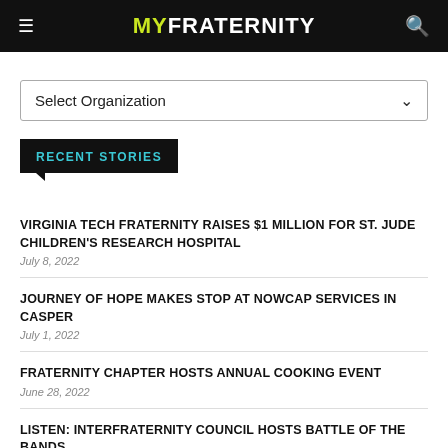MYFRATERNITY
Select Organization
RECENT STORIES
VIRGINIA TECH FRATERNITY RAISES $1 MILLION FOR ST. JUDE CHILDREN'S RESEARCH HOSPITAL
July 8, 2022
JOURNEY OF HOPE MAKES STOP AT NOWCAP SERVICES IN CASPER
July 1, 2022
FRATERNITY CHAPTER HOSTS ANNUAL COOKING EVENT
June 28, 2022
LISTEN: INTERFRATERNITY COUNCIL HOSTS BATTLE OF THE BANDS,